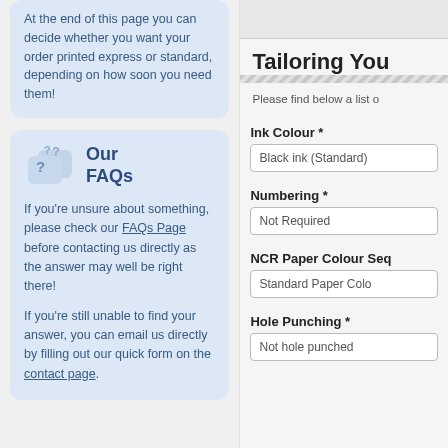At the end of this page you can decide whether you want your order printed express or standard, depending on how soon you need them!
Our FAQs
If you're unsure about something, please check our FAQs Page before contacting us directly as the answer may well be right there!
If you're still unable to find your answer, you can email us directly by filling out our quick form on the contact page.
Tailoring You
Please find below a list o
Ink Colour *
Black ink (Standard)
Numbering *
Not Required
NCR Paper Colour Seq
Standard Paper Colo
Hole Punching *
Not hole punched